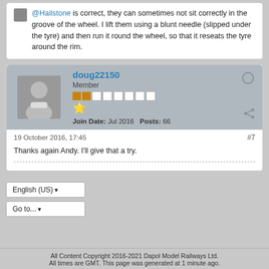@Hailstone is correct, they can sometimes not sit correctly in the groove of the wheel. I lift them using a blunt needle (slipped under the tyre) and then run it round the wheel, so that it reseats the tyre around the rim.
doug22150
Member
Join Date: Jul 2016  Posts: 66
19 October 2016, 17:45
#7
Thanks again Andy. I'll give that a try.
English (US)
Go to...
All Content Copyright 2016-2021 Dapol Model Railways Ltd. All times are GMT. This page was generated at 1 minute ago.